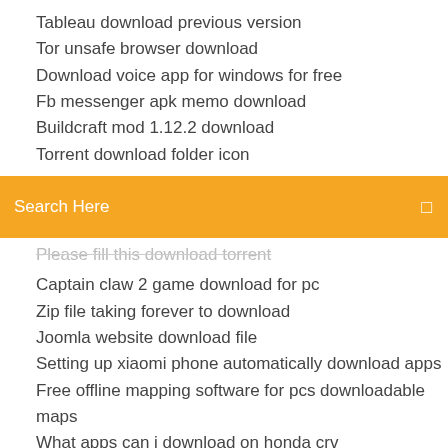Tableau download previous version
Tor unsafe browser download
Download voice app for windows for free
Fb messenger apk memo download
Buildcraft mod 1.12.2 download
Torrent download folder icon
[Figure (screenshot): Orange search bar with 'Search Here' placeholder text and a small icon on the right]
Please fill this download torrent
Captain claw 2 game download for pc
Zip file taking forever to download
Joomla website download file
Setting up xiaomi phone automatically download apps
Free offline mapping software for pcs downloadable maps
What apps can i download on honda crv
Toshiba s855 s5254 updated drivers download
Blackberry torch 9800 apps free download
Best shot chords and lyrics pdf download
Download driver canon mp495 for windows xp